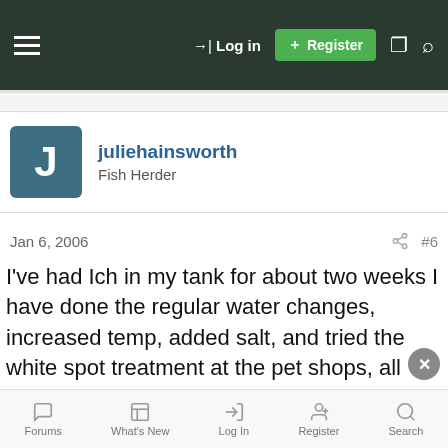Log in | Register
[Figure (screenshot): User avatar for juliehainsworth — teal square with white letter J]
juliehainsworth
Fish Herder
Jan 6, 2006  #6
I've had Ich in my tank for about two weeks I have done the regular water changes, increased temp, added salt, and tried the white spot treatment at the pet shops, all that has happened is that it just hasnt spread rapidly is there anything else I can do! Beside the fish having the white spots they seem healthy enough but I keep noticing others in my tank starting to scratch themselves on the rocks or wood in my
Forums  What's New  Log In  Register  Search